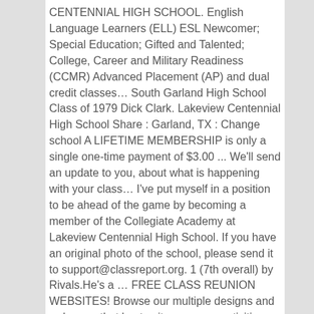CENTENNIAL HIGH SCHOOL. English Language Learners (ELL) ESL Newcomer; Special Education; Gifted and Talented; College, Career and Military Readiness (CCMR) Advanced Placement (AP) and dual credit classes… South Garland High School Class of 1979 Dick Clark. Lakeview Centennial High School Share : Garland, TX : Change school A LIFETIME MEMBERSHIP is only a single one-time payment of $3.00 ... We'll send an update to you, about what is happening with your class… I've put myself in a position to be ahead of the game by becoming a member of the Collegiate Academy at Lakeview Centennial High School. If you have an original photo of the school, please send it to support@classreport.org. 1 (7th overall) by Rivals.He's a … FREE CLASS REUNION WEBSITES! Browse our multiple designs and order one that best suits you, your activities and interests and your Lakeview Centennial High School … With 2021 class facing unfortunate reality, recruiting coordinators are as valuable as ever to Dallas-area football programs 3505 Hayman Drive, Garland, TX 75043-1920. AlumniClass.com is not affiliated with and is independent of any school, school … I plan to revieve my associates degree along with my